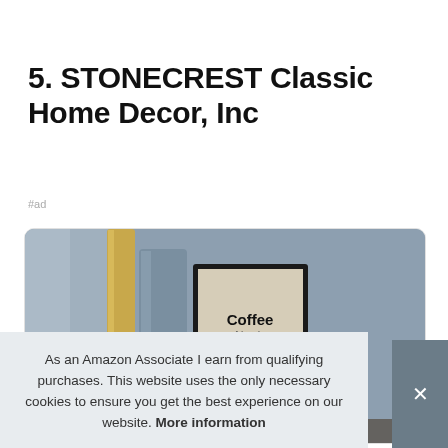5. STONECREST Classic Home Decor, Inc
#ad
[Figure (photo): Product photo showing home decor items including framed 'Coffee friends MAKE' sign and vases on a blue-grey background]
As an Amazon Associate I earn from qualifying purchases. This website uses the only necessary cookies to ensure you get the best experience on our website. More information